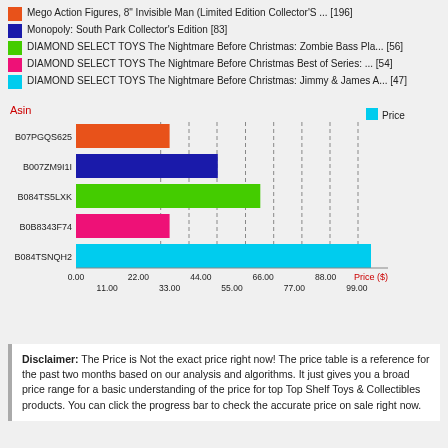Mego Action Figures, 8" Invisible Man (Limited Edition Collector'S ... [196]
Monopoly: South Park Collector's Edition [83]
DIAMOND SELECT TOYS The Nightmare Before Christmas: Zombie Bass Pla... [56]
DIAMOND SELECT TOYS The Nightmare Before Christmas Best of Series: ... [54]
DIAMOND SELECT TOYS The Nightmare Before Christmas: Jimmy & James A... [47]
[Figure (bar-chart): Asin vs Price ($)]
Disclaimer: The Price is Not the exact price right now! The price table is a reference for the past two months based on our analysis and algorithms. It just gives you a broad price range for a basic understanding of the price for top Top Shelf Toys & Collectibles products. You can click the progress bar to check the accurate price on sale right now.